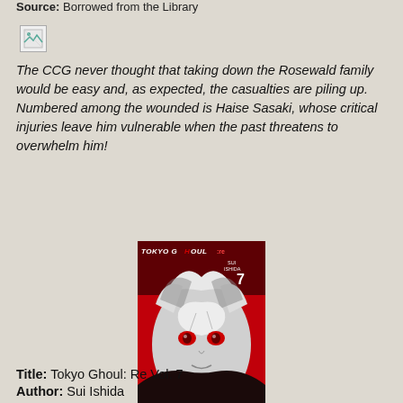Source: Borrowed from the Library
[Figure (illustration): Broken/missing image placeholder icon]
The CCG never thought that taking down the Rosewald family would be easy and, as expected, the casualties are piling up. Numbered among the wounded is Haise Sasaki, whose critical injuries leave him vulnerable when the past threatens to overwhelm him!
[Figure (illustration): Book cover of Tokyo Ghoul: Re Vol. 7 by Sui Ishida, showing a manga character with white/grey hair and red eyes against a red and dark background, with the title 'TOKYO GHOUL:re' at the top and the number 7 on the right side.]
Title: Tokyo Ghoul: Re Vol. 7
Author: Sui Ishida